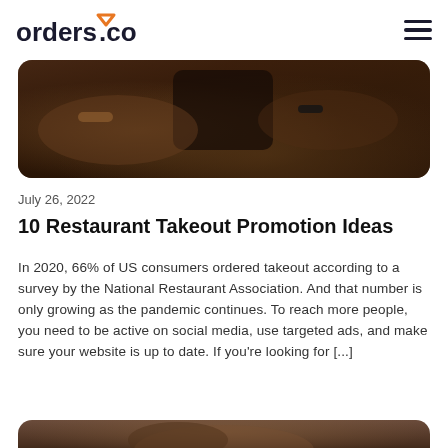orders.co
[Figure (photo): Close-up photo of hands holding a smartphone, dark moody background, person wearing bracelet and black wristband]
July 26, 2022
10 Restaurant Takeout Promotion Ideas
In 2020, 66% of US consumers ordered takeout according to a survey by the National Restaurant Association. And that number is only growing as the pandemic continues. To reach more people, you need to be active on social media, use targeted ads, and make sure your website is up to date. If you're looking for [...]
[Figure (photo): Partial photo of a person, cropped at bottom of page, dark background]